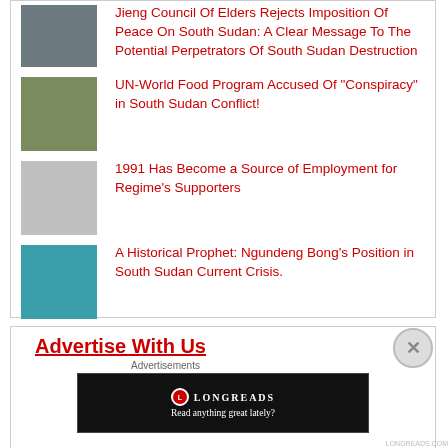Jieng Council Of Elders Rejects Imposition Of Peace On South Sudan: A Clear Message To The Potential Perpetrators Of South Sudan Destruction
UN-World Food Program Accused Of "Conspiracy" in South Sudan Conflict!
1991 Has Become a Source of Employment for Regime's Supporters
A Historical Prophet: Ngundeng Bong's Position in South Sudan Current Crisis.
Advertise With Us
[Figure (screenshot): Longreads advertisement banner reading 'Read anything great lately?']